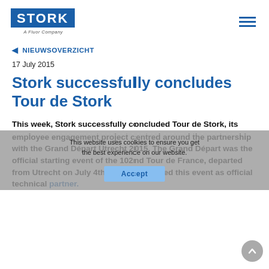[Figure (logo): Stork logo - blue rectangle with white STORK text, subtitle 'A Fluor Company']
◄  NIEUWSOVERZICHT
17 July 2015
Stork successfully concludes Tour de Stork
This week, Stork successfully concluded Tour de Stork, its employee engagement project centred around the partnership with the Grand Départ Utrecht 2015. The Grand Départ was the official starting event of the 102nd Tour de France, departed from Utrecht on July 4th. Stork supported this event as official technical partner.
Tour de Stork ran from mid-January until mid-July and aimed to connect employees from all over the world by activities that